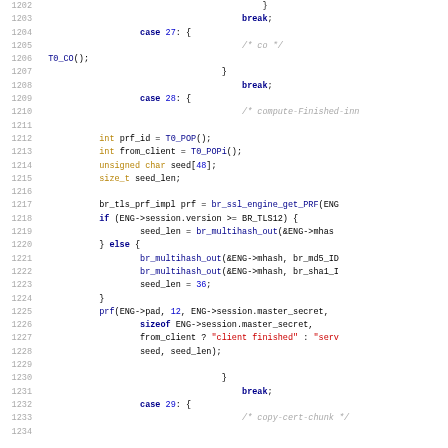[Figure (screenshot): Source code listing showing C code lines 1202-1234, a switch-case block with TLS/SSL engine logic including case 27 (T0_CO), case 28 (compute-Finished-in with prf computation), and case 29 (copy-cert-chunk). Contains keywords, function calls, string literals, and comments in syntax-highlighted monospace font.]